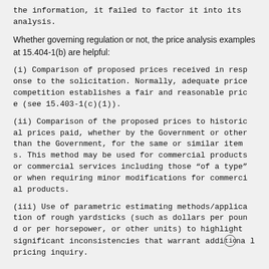the information, it failed to factor it into its analysis.
Whether governing regulation or not, the price analysis examples at 15.404-1(b) are helpful:
(i) Comparison of proposed prices received in response to the solicitation. Normally, adequate price competition establishes a fair and reasonable price (see 15.403-1(c)(1)).
(ii) Comparison of the proposed prices to historical prices paid, whether by the Government or other than the Government, for the same or similar items. This method may be used for commercial products or commercial services including those “of a type” or when requiring minor modifications for commercial products.
(iii) Use of parametric estimating methods/application of rough yardsticks (such as dollars per pound or per horsepower, or other units) to highlight significant inconsistencies that warrant additional pricing inquiry.